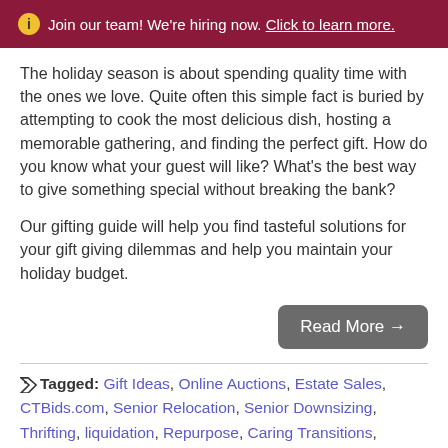ℹ Join our team! We're hiring now. Click to learn more.
The holiday season is about spending quality time with the ones we love. Quite often this simple fact is buried by attempting to cook the most delicious dish, hosting a memorable gathering, and finding the perfect gift. How do you know what your guest will like? What's the best way to give something special without breaking the bank?
Our gifting guide will help you find tasteful solutions for your gift giving dilemmas and help you maintain your holiday budget.
Read More →
Tagged: Gift Ideas, Online Auctions, Estate Sales, CTBids.com, Senior Relocation, Senior Downsizing, Thrifting, liquidation, Repurpose, Caring Transitions, Resale,